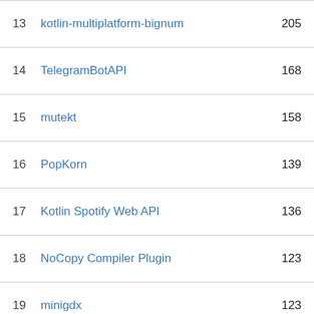| # | Name | Count |
| --- | --- | --- |
| 13 | kotlin-multiplatform-bignum | 205 |
| 14 | TelegramBotAPI | 168 |
| 15 | mutekt | 158 |
| 16 | PopKorn | 139 |
| 17 | Kotlin Spotify Web API | 136 |
| 18 | NoCopy Compiler Plugin | 123 |
| 19 | minigdx | 123 |
| 20 | littlekt | 92 |
| 21 | kotlin-inline-logger | 81 |
| 22 | truthish | 68 |
| 23 | Thinkrchive-Multiplatform | 54 |
Find remote jobs at our new job board 99remotejobs.com. There are 3 new remote jobs listed recently. Are you hiring? Post a new remote job listing for free